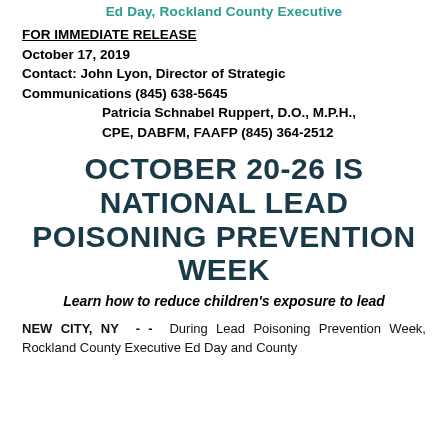Ed Day, Rockland County Executive
FOR IMMEDIATE RELEASE
October 17, 2019
Contact: John Lyon, Director of Strategic Communications (845) 638-5645
                Patricia Schnabel Ruppert, D.O., M.P.H., CPE, DABFM, FAAFP (845) 364-2512
OCTOBER 20-26 IS NATIONAL LEAD POISONING PREVENTION WEEK
Learn how to reduce children's exposure to lead
NEW CITY, NY - - During Lead Poisoning Prevention Week, Rockland County Executive Ed Day and County